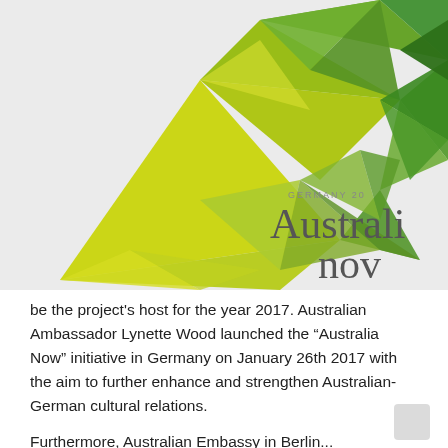[Figure (illustration): Geometric low-poly kangaroo silhouette in shades of yellow-green and dark green on a light grey background. Text overlay reads 'GERMANY 20' (partially visible) and 'Australia now' in large grey serif font (partially cut off at right edge).]
be the project's host for the year 2017. Australian Ambassador Lynette Wood launched the "Australia Now" initiative in Germany on January 26th 2017 with the aim to further enhance and strengthen Australian-German cultural relations.
Furthermore, Australian Embassy in Berlin...